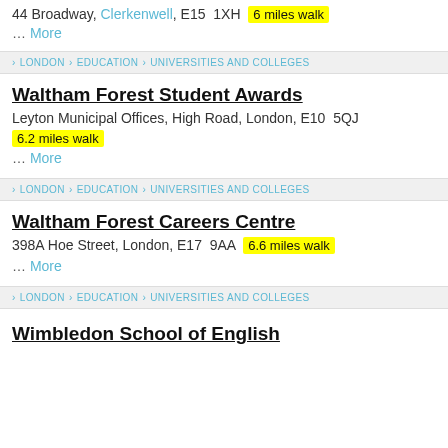44 Broadway, Clerkenwell, E15 1XH  6 miles walk
… More
› LONDON › EDUCATION › UNIVERSITIES AND COLLEGES
Waltham Forest Student Awards
Leyton Municipal Offices, High Road, London, E10 5QJ  6.2 miles walk
… More
› LONDON › EDUCATION › UNIVERSITIES AND COLLEGES
Waltham Forest Careers Centre
398A Hoe Street, London, E17 9AA  6.6 miles walk
… More
› LONDON › EDUCATION › UNIVERSITIES AND COLLEGES
Wimbledon School of English